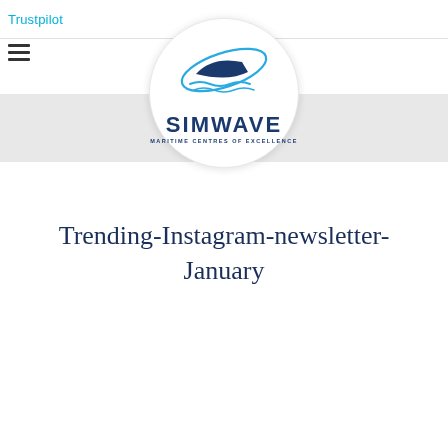Trustpilot
[Figure (logo): Simwave Maritime Centres of Excellence logo — a circular badge containing a boat hull with swooping ellipse and wave lines above text SIMWAVE MARITIME CENTRES OF EXCELLENCE]
Trending-Instagram-newsletter-January